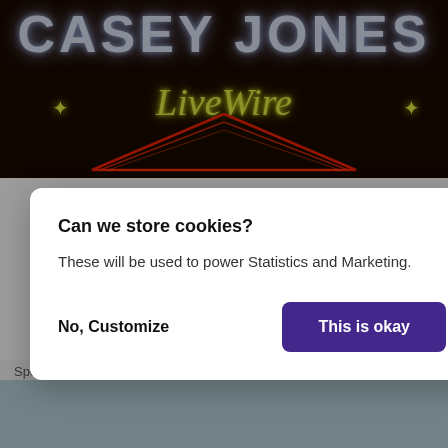[Figure (photo): Casey Jones LiveWire promotional banner with neon-style text on dark background with red triangle geometric lines]
B
S
E
DEBUTS!
M
N
E GETS A RELEASE D
Sponsored
[Figure (photo): Bottom banner area with toggle switch, person photo, and reCAPTCHA badge]
Can we store cookies?
These will be used to power Statistics and Marketing.
No, Customize
This is okay